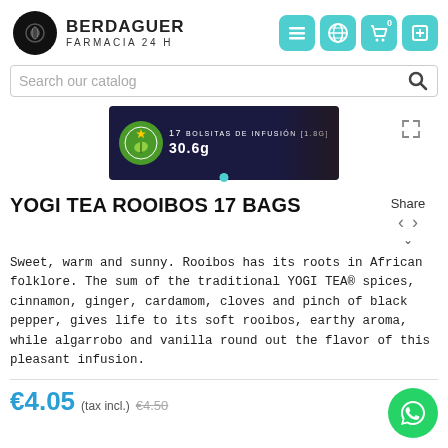[Figure (logo): Berdaguer Farmacia 24H logo with circular saw blade icon and text]
[Figure (screenshot): Navigation icons: hamburger menu, globe, cart with 0, and another button, all in teal rounded square buttons]
[Figure (screenshot): Search bar with placeholder 'Search our catalog' and search icon]
[Figure (photo): Product image: Yogi Tea Rooibos box showing '17 BOLSITAS DE INFUSIÓN (1.8g) 30.6g' with EU organic logo, dark blue box with spices]
YOGI TEA ROOIBOS 17 BAGS
Sweet, warm and sunny. Rooibos has its roots in African folklore. The sum of the traditional YOGI TEA® spices, cinnamon, ginger, cardamom, cloves and pinch of black pepper, gives life to its soft rooibos, earthy aroma, while algarrobo and vanilla round out the flavor of this pleasant infusion.
€4.05 (tax incl.) €4.50